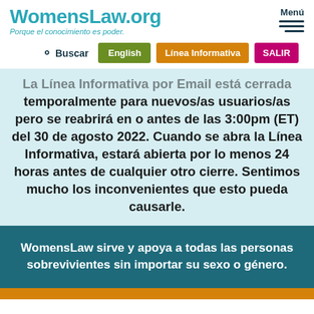WomensLaw.org — Porque el conocimiento es poder.
La Línea Informativa por Email está cerrada temporalmente para nuevos/as usuarios/as pero se reabrirá en o antes de las 3:00pm (ET) del 30 de agosto 2022. Cuando se abra la Línea Informativa, estará abierta por lo menos 24 horas antes de cualquier otro cierre. Sentimos mucho los inconvenientes que esto pueda causarle.
WomensLaw sirve y apoya a todas las personas sobrevivientes sin importar su sexo o género.